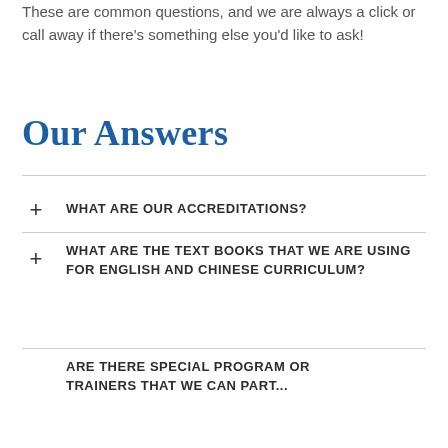These are common questions, and we are always a click or call away if there's something else you'd like to ask!
Our Answers
WHAT ARE OUR ACCREDITATIONS?
WHAT ARE THE TEXT BOOKS THAT WE ARE USING FOR ENGLISH AND CHINESE CURRICULUM?
ARE THERE SPECIAL PROGRAM OR TRAINERS THAT WE CAN PARTNER WITH?